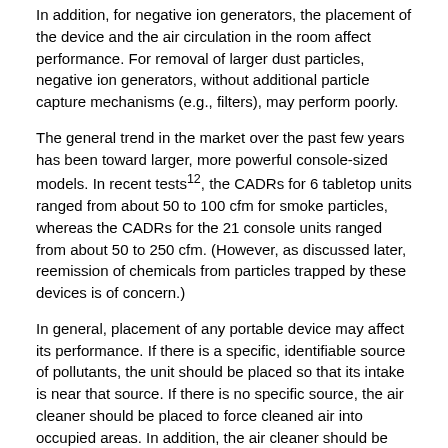In addition, for negative ion generators, the placement of the device and the air circulation in the room affect performance. For removal of larger dust particles, negative ion generators, without additional particle capture mechanisms (e.g., filters), may perform poorly.
The general trend in the market over the past few years has been toward larger, more powerful console-sized models. In recent tests¹², the CADRs for 6 tabletop units ranged from about 50 to 100 cfm for smoke particles, whereas the CADRs for the 21 console units ranged from about 50 to 250 cfm. (However, as discussed later, reemission of chemicals from particles trapped by these devices is of concern.)
In general, placement of any portable device may affect its performance. If there is a specific, identifiable source of pollutants, the unit should be placed so that its intake is near that source. If there is no specific source, the air cleaner should be placed to force cleaned air into occupied areas. In addition, the air cleaner should be located where the inlet and outlet are not blocked by walls, furniture, or other obstructions.
Effectiveness of a unit may also be decreased if air exiting the air cleaner outlet is not adequately mixed with room air before reentering the device.